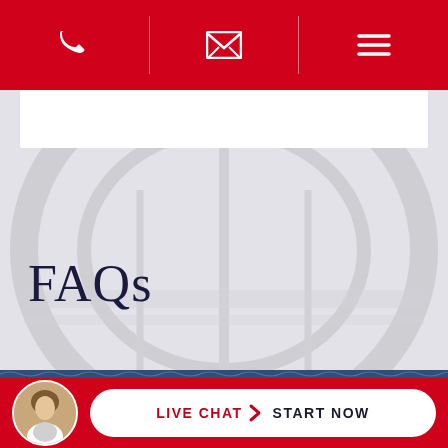[Figure (screenshot): Red navigation bar with phone icon, email/envelope icon, and hamburger menu icon separated by vertical dividers on white lines]
[Figure (photo): Gray background hero section with faint car silhouette overlay and white banner at top]
FAQs
[Figure (photo): Blue textured background section]
What are your fees?
[Figure (screenshot): Red bottom bar with circular agent photo and white pill-shaped Live Chat Start Now button]